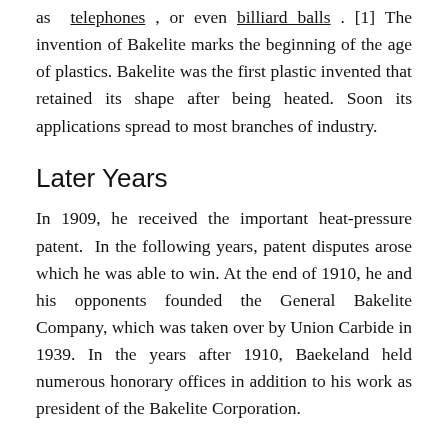as telephones , or even billiard balls . [1] The invention of Bakelite marks the beginning of the age of plastics. Bakelite was the first plastic invented that retained its shape after being heated. Soon its applications spread to most branches of industry.
Later Years
In 1909, he received the important heat-pressure patent.  In the following years, patent disputes arose which he was able to win. At the end of 1910, he and his opponents founded the General Bakelite Company, which was taken over by Union Carbide in 1939. In the years after 1910, Baekeland held numerous honorary offices in addition to his work as president of the Bakelite Corporation.
Honors
Baekeland was awarded numerous honors for his services: In 1910, he received the Willard H. Nichols Medal of the American...